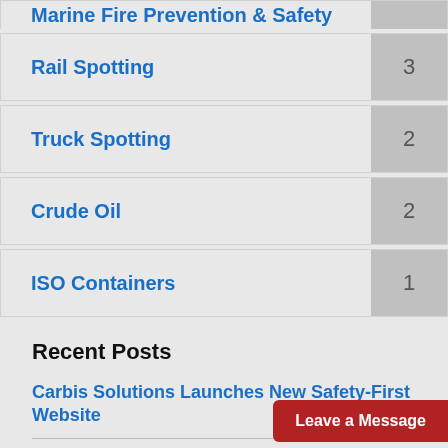Marine Fire Prevention & Safety
Rail Spotting  3
Truck Spotting  2
Crude Oil  2
ISO Containers  1
Recent Posts
Carbis Solutions Launches New Safety-First Website
4 Essential Qualities To Look For In Ma...
Leave a Message